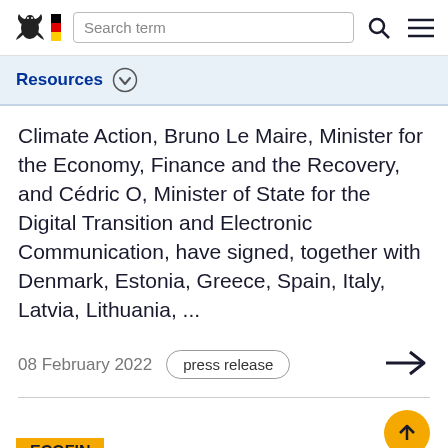Search term
Resources
Climate Action, Bruno Le Maire, Minister for the Economy, Finance and the Recovery, and Cédric O, Minister of State for the Digital Transition and Electronic Communication, have signed, together with Denmark, Estonia, Greece, Spain, Italy, Latvia, Lithuania, ...
08 February 2022  press release
ECOFIN